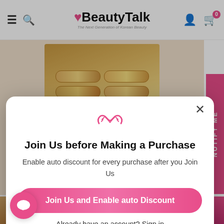BeautyTalk — The Next Generation of Korean Beauty
[Figure (photo): Product image showing rows of gold and pearl capsules/ampoules arranged in a grid on a warm beige background]
NOTIFY ME
Join Us before Making a Purchase
Enable auto discount for every purchase after you Join Us
Join Us and Enable auto Discount
Already have an account? Sign in